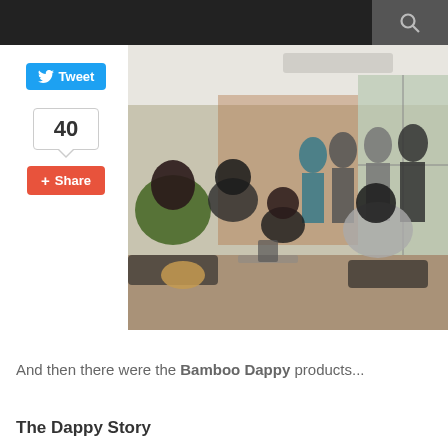Navigation bar with search icon
[Figure (photo): Indoor gathering/event photo showing multiple people seated and standing in a modern room with large windows. A presenter stands at the front. Attendees are seated in chairs around tables.]
And then there were the Bamboo Dappy products...
The Dappy Story